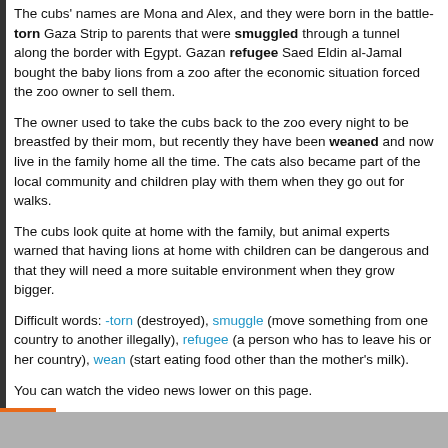The cubs' names are Mona and Alex, and they were born in the battle-torn Gaza Strip to parents that were smuggled through a tunnel along the border with Egypt. Gazan refugee Saed Eldin al-Jamal bought the baby lions from a zoo after the economic situation forced the zoo owner to sell them.
The owner used to take the cubs back to the zoo every night to be breastfed by their mom, but recently they have been weaned and now live in the family home all the time. The cats also became part of the local community and children play with them when they go out for walks.
The cubs look quite at home with the family, but animal experts warned that having lions at home with children can be dangerous and that they will need a more suitable environment when they grow bigger.
Difficult words: -torn (destroyed), smuggle (move something from one country to another illegally), refugee (a person who has to leave his or her country), wean (start eating food other than the mother's milk).
You can watch the video news lower on this page.